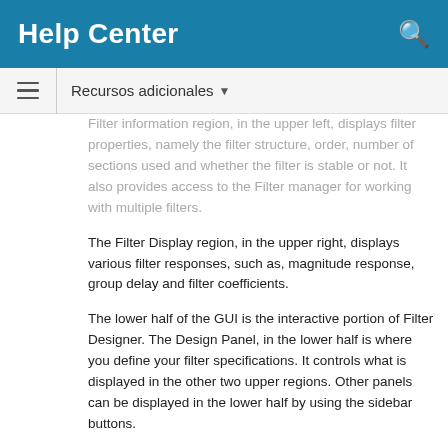Help Center
Recursos adicionales
Filter information region, in the upper left, displays filter properties, namely the filter structure, order, number of sections used and whether the filter is stable or not. It also provides access to the Filter manager for working with multiple filters.
The Filter Display region, in the upper right, displays various filter responses, such as, magnitude response, group delay and filter coefficients.
The lower half of the GUI is the interactive portion of Filter Designer. The Design Panel, in the lower half is where you define your filter specifications. It controls what is displayed in the other two upper regions. Other panels can be displayed in the lower half by using the sidebar buttons.
The tool includes Context-sensitive help. You can right-click or click the What's This? button to get information on the different parts of the tool.
Designing a Filter
We will design a low pass filter that passes all frequencies less